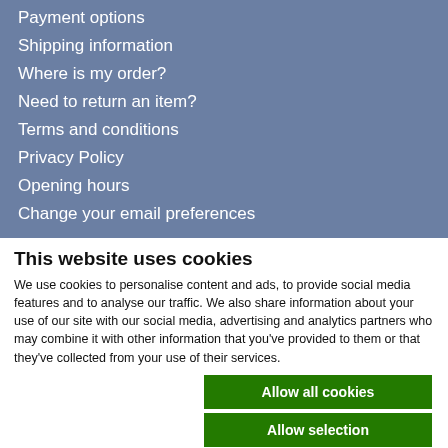Payment options
Shipping information
Where is my order?
Need to return an item?
Terms and conditions
Privacy Policy
Opening hours
Change your email preferences
This website uses cookies
We use cookies to personalise content and ads, to provide social media features and to analyse our traffic. We also share information about your use of our site with our social media, advertising and analytics partners who may combine it with other information that you've provided to them or that they've collected from your use of their services.
Allow all cookies
Allow selection
Use necessary cookies only
Necessary  Preferences  Statistics  Marketing  Show details